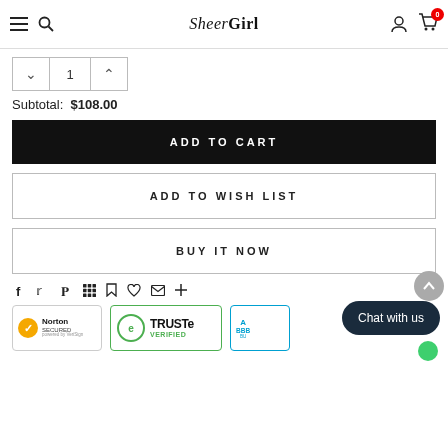SheerGirl — navigation header with menu, search, account, and cart (0 items)
Subtotal: $108.00
ADD TO CART
ADD TO WISH LIST
BUY IT NOW
[Figure (screenshot): Social share icons row: Facebook, Twitter, Pinterest, Grid/App, Bookmark, Heart/Fancy, Email, Plus]
[Figure (screenshot): Trust badges row: Norton Secured by VeriSign, TRUSTe Verified, BBB Accredited Business. Chat with us bubble overlay.]